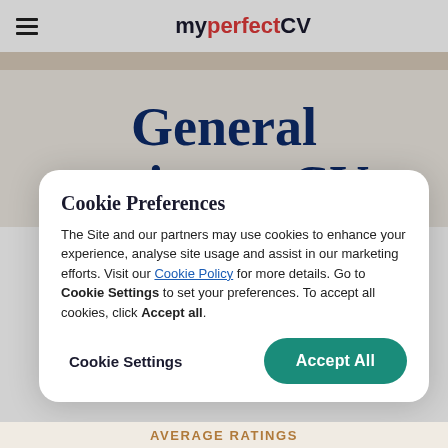my perfect CV
General assistant CV
Cookie Preferences
The Site and our partners may use cookies to enhance your experience, analyse site usage and assist in our marketing efforts. Visit our Cookie Policy for more details. Go to Cookie Settings to set your preferences. To accept all cookies, click Accept all.
Cookie Settings    Accept All
AVERAGE RATINGS